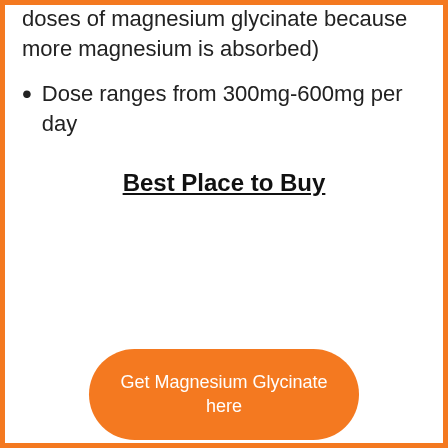doses of magnesium glycinate because more magnesium is absorbed)
Dose ranges from 300mg-600mg per day
Best Place to Buy
Get Magnesium Glycinate here